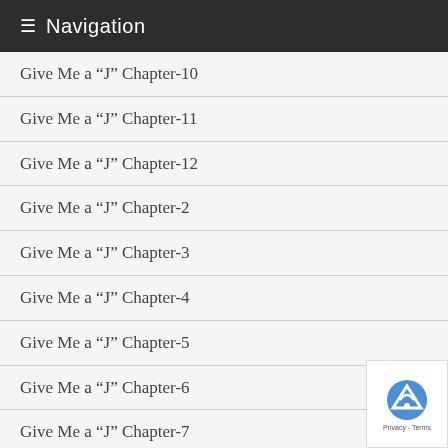≡ Navigation
Give Me a “J” Chapter-10
Give Me a “J” Chapter-11
Give Me a “J” Chapter-12
Give Me a “J” Chapter-2
Give Me a “J” Chapter-3
Give Me a “J” Chapter-4
Give Me a “J” Chapter-5
Give Me a “J” Chapter-6
Give Me a “J” Chapter-7